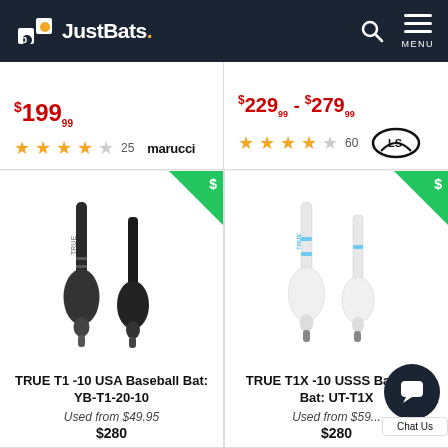JustBats.
$199 (price, partial)
$229 - $279 (price range, partial)
★★★★☆ 25 | marucci
★★★★☆ 60 | Louisville Slugger
[Figure (photo): TRUE T1 -10 USA Baseball Bat (YB-T1-20-10) — two dark/black baseball bats shown side by side]
TRUE T1 -10 USA Baseball Bat: YB-T1-20-10
Used from $49.95
$280
[Figure (photo): TRUE T1X -10 USSS Baseball Bat (UT-T1X) — two white/blue baseball bats shown side by side]
TRUE T1X -10 USSS Baseball Bat: UT-T1X
Used from $59...
$280